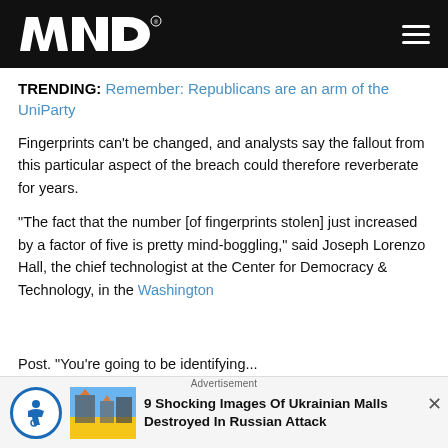WND
TRENDING: Remember: Republicans are an arm of the UniParty
Fingerprints can't be changed, and analysts say the fallout from this particular aspect of the breach could therefore reverberate for years.
"The fact that the number [of fingerprints stolen] just increased by a factor of five is pretty mind-boggling," said Joseph Lorenzo Hall, the chief technologist at the Center for Democracy & Technology, in the Washington Post.
Advertisement: 9 Shocking Images Of Ukrainian Malls Destroyed In Russian Attack